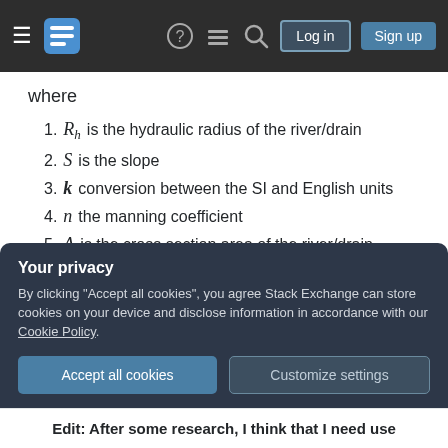Stack Exchange navigation bar with logo, Log in and Sign up buttons
where
R_h is the hydraulic radius of the river/drain
S is the slope
k conversion between the SI and English units
n the manning coefficient
A is the cross section area of the river/drain
For one, I know that the water flow volume must be
Your privacy
By clicking "Accept all cookies", you agree Stack Exchange can store cookies on your device and disclose information in accordance with our Cookie Policy.
Edit: After some research, I think that I need use